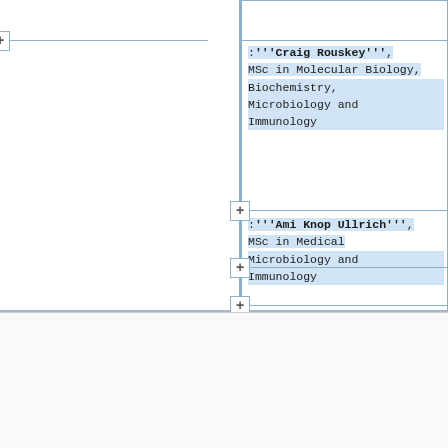:'''Craig Rouskey''', MSc in Molecular Biology, Biochemistry, Microbiology and Immunology
:'''Ami Knop Ullrich''', MSc in Medical Microbiology and Immunology
Romyilano
1,323 EDITS